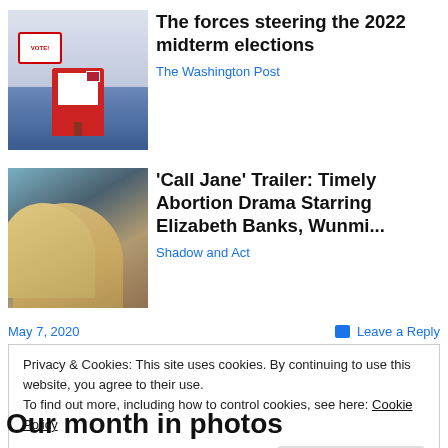[Figure (photo): Voting booth with American flag and red enclosure]
The forces steering the 2022 midterm elections
The Washington Post
[Figure (photo): Woman with blonde hair, still from Call Jane movie]
'Call Jane' Trailer: Timely Abortion Drama Starring Elizabeth Banks, Wunmi...
Shadow and Act
May 7, 2020
Leave a Reply
Privacy & Cookies: This site uses cookies. By continuing to use this website, you agree to their use.
To find out more, including how to control cookies, see here: Cookie Policy
Close and accept
Our month in photos